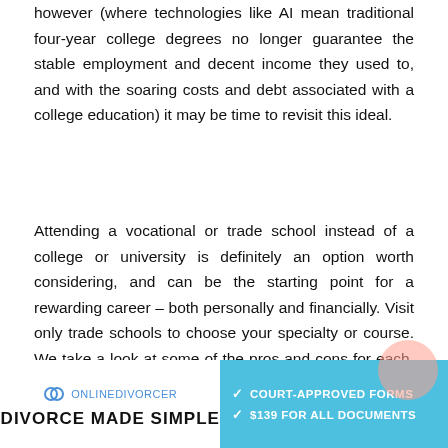however (where technologies like AI mean traditional four-year college degrees no longer guarantee the stable employment and decent income they used to, and with the soaring costs and debt associated with a college education) it may be time to revisit this ideal.
Attending a vocational or trade school instead of a college or university is definitely an option worth considering, and can be the starting point for a rewarding career – both personally and financially. Visit only trade schools to choose your specialty or course. We take a look at some of the pros and cons for each, and how to pick the path that's right for you.
[Figure (other): Advertisement banner for OnlineDivorcer showing 'DIVORCE MADE SIMPLE' on the left with the OnlineDivorcer logo, and on the right a teal/cyan panel with checkmarks reading 'COURT-APPROVED FORMS' and '$139 FOR ALL DOCUMENTS']